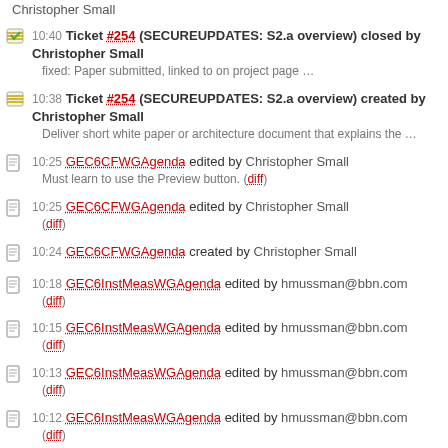Christopher Small
10:40 Ticket #254 (SECUREUPDATES: S2.a overview) closed by Christopher Small — fixed: Paper submitted, linked to on project page …
10:38 Ticket #254 (SECUREUPDATES: S2.a overview) created by Christopher Small — Deliver short white paper or architecture document that explains the …
10:25 GEC6CFWGAgenda edited by Christopher Small — Must learn to use the Preview button. (diff)
10:25 GEC6CFWGAgenda edited by Christopher Small — (diff)
10:24 GEC6CFWGAgenda created by Christopher Small
10:18 GEC6InstMeasWGAgenda edited by hmussman@bbn.com — (diff)
10:15 GEC6InstMeasWGAgenda edited by hmussman@bbn.com — (diff)
10:13 GEC6InstMeasWGAgenda edited by hmussman@bbn.com — (diff)
10:12 GEC6InstMeasWGAgenda edited by hmussman@bbn.com — (diff)
10:08 GeniControl edited by Christopher Small — (diff)